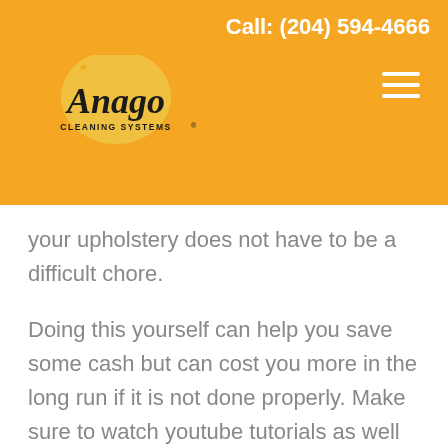Call: (204) 594-4666
[Figure (logo): Anago Cleaning Systems logo in black and gold on orange background]
your upholstery does not have to be a difficult chore.
Doing this yourself can help you save some cash but can cost you more in the long run if it is not done properly. Make sure to watch youtube tutorials as well to make sure that you are using your particular steam cleaner the way that it is intended to be used.